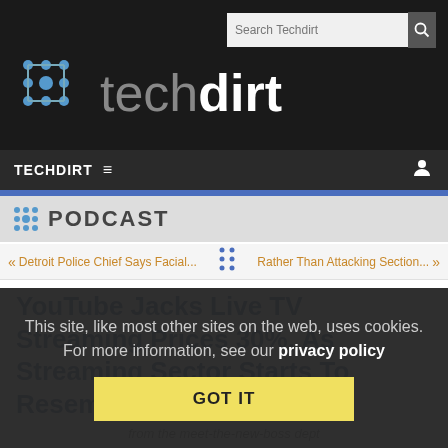techdirt
TECHDIRT ≡
[Figure (logo): Techdirt podcast logo with dot-grid icon and PODCAST text]
« Detroit Police Chief Says Facial...  ⬡  Rather Than Attacking Section... »
YouTube Jacks Live TV Streaming Prices 30%, As Streaming Sector Starts To Resemble Good Old Cable
from the meet-the-new-boss dept
This site, like most other sites on the web, uses cookies. For more information, see our privacy policy
GOT IT